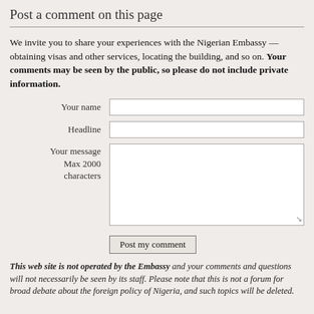Post a comment on this page
We invite you to share your experiences with the Nigerian Embassy — obtaining visas and other services, locating the building, and so on. Your comments may be seen by the public, so please do not include private information.
Your name [input field]
Headline [input field]
Your message Max 2000 characters [textarea]
Post my comment [button]
This web site is not operated by the Embassy and your comments and questions will not necessarily be seen by its staff. Please note that this is not a forum for broad debate about the foreign policy of Nigeria, and such topics will be deleted.